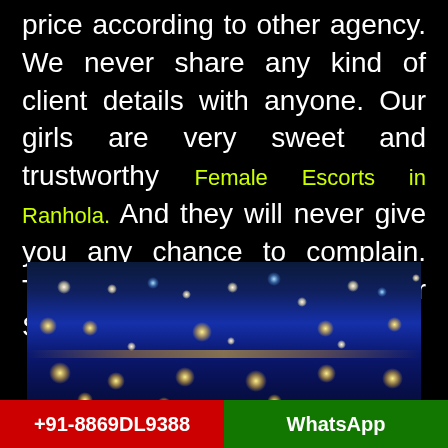price according to other agency. We never share any kind of client details with anyone. Our girls are very sweet and trustworthy Female Escorts in Ranhola. And they will never give you any chance to complain. That's why you need to book our Sexy Call Girls.
[Figure (photo): Night cityscape with blue-toned sky and scattered street lights and city lights in the distance]
+91-8869DL9388   WhatsApp